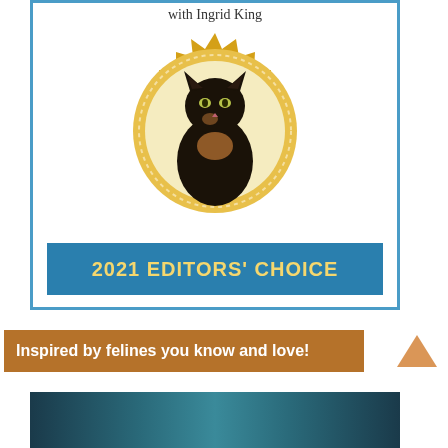with Ingrid King
[Figure (illustration): Gold seal/badge award with a tortoiseshell cat photo in the center, surrounded by a gold starburst border and dotted inner ring. Blue banner below reads '2021 EDITORS' CHOICE' in gold bold text.]
2021 EDITORS' CHOICE
Inspired by felines you know and love!
[Figure (photo): Partial bottom strip showing a blurred/teal underwater or nature photo strip at the bottom of the page.]